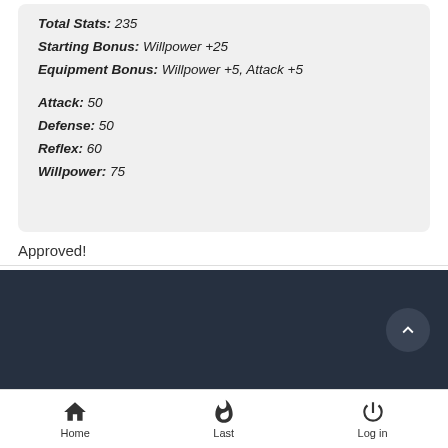Total Stats: 235
Starting Bonus: Willpower +25
Equipment Bonus: Willpower +5, Attack +5
Attack: 50
Defense: 50
Reflex: 60
Willpower: 75
Approved!
Nice!
Boo~
Home   Last   Log in